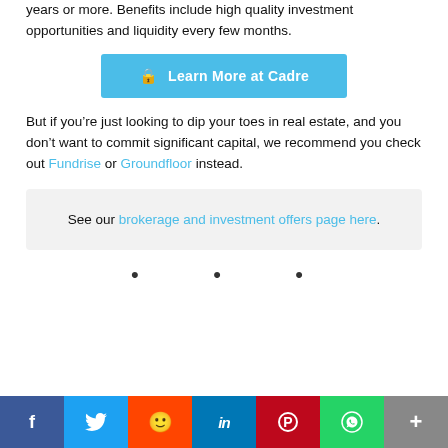years or more. Benefits include high quality investment opportunities and liquidity every few months.
[Figure (other): Blue button: Learn More at Cadre]
But if you’re just looking to dip your toes in real estate, and you don’t want to commit significant capital, we recommend you check out Fundrise or Groundfloor instead.
See our brokerage and investment offers page here.
[Figure (other): Social share bar with Facebook, Twitter, Reddit, LinkedIn, Pinterest, WhatsApp, More buttons]